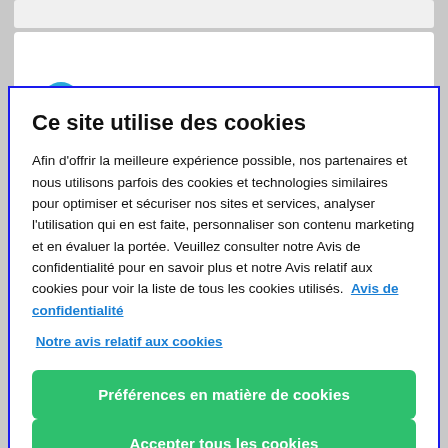[Figure (screenshot): Background showing a web page with a gray bar and a white card with Freshservice logo partially visible]
Ce site utilise des cookies
Afin d'offrir la meilleure expérience possible, nos partenaires et nous utilisons parfois des cookies et technologies similaires pour optimiser et sécuriser nos sites et services, analyser l'utilisation qui en est faite, personnaliser son contenu marketing et en évaluer la portée. Veuillez consulter notre Avis de confidentialité pour en savoir plus et notre Avis relatif aux cookies pour voir la liste de tous les cookies utilisés.
Avis de confidentialité  Notre avis relatif aux cookies
Préférences en matière de cookies
Accepter tous les cookies